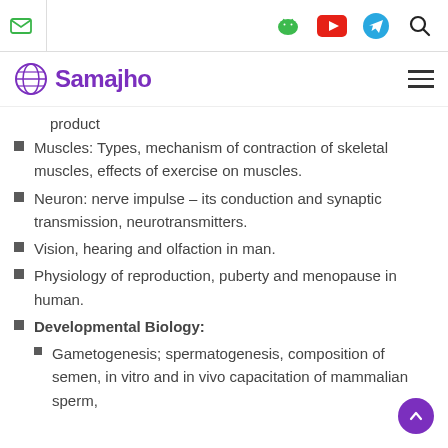Samajho — navigation header with email, android, youtube, telegram, search icons
product
Muscles: Types, mechanism of contraction of skeletal muscles, effects of exercise on muscles.
Neuron: nerve impulse – its conduction and synaptic transmission, neurotransmitters.
Vision, hearing and olfaction in man.
Physiology of reproduction, puberty and menopause in human.
Developmental Biology:
Gametogenesis; spermatogenesis, composition of semen, in vitro and in vivo capacitation of mammalian sperm,